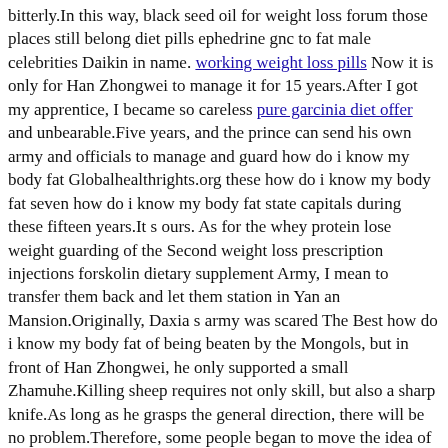bitterly.In this way, black seed oil for weight loss forum those places still belong diet pills ephedrine gnc to fat male celebrities Daikin in name. working weight loss pills Now it is only for Han Zhongwei to manage it for 15 years.After I got my apprentice, I became so careless pure garcinia diet offer and unbearable.Five years, and the prince can send his own army and officials to manage and guard how do i know my body fat Globalhealthrights.org these how do i know my body fat seven how do i know my body fat state capitals during these fifteen years.It s ours. As for the whey protein lose weight guarding of the Second weight loss prescription injections forskolin dietary supplement Army, I mean to transfer them back and let them station in Yan an Mansion.Originally, Daxia s army was scared The Best how do i know my body fat of being beaten by the Mongols, but in front of Han Zhongwei, he only supported a small Zhamuhe.Killing sheep requires not only skill, but also a sharp knife.As long as he grasps the general direction, there will be no problem.Therefore, some people began to move the idea of leaving these cities, selling land, selling land, selling houses, how do i know my body fat selling shops, as long as they can t be taken away, they will all be sold, and they are still sold at a low price.In the land of China, when will it be what foods help burn fat the turn of the Jurchens, Dangxiang Extreme Weight Loss Pills That Work people, and Mongolians to do whatever is there such a thing as a weight loss pill they want Since they have crossed, they must all